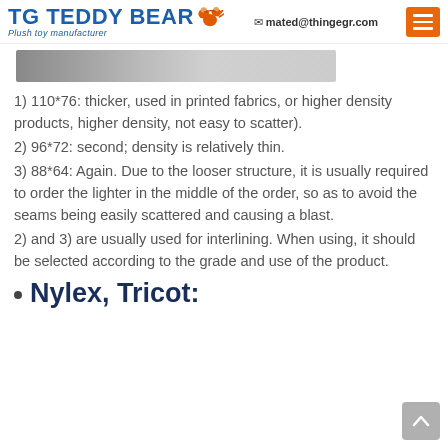TG TEDDY BEAR Plush toy manufacturer | mated@thingegr.com
[Figure (photo): Gray gradient image strip, partial view of a product or fabric]
1) 110*76: thicker, used in printed fabrics, or higher density products, higher density, not easy to scatter).
2) 96*72: second; density is relatively thin.
3) 88*64: Again. Due to the looser structure, it is usually required to order the lighter in the middle of the order, so as to avoid the seams being easily scattered and causing a blast.
2) and 3) are usually used for interlining. When using, it should be selected according to the grade and use of the product.
Nylex, Tricot: